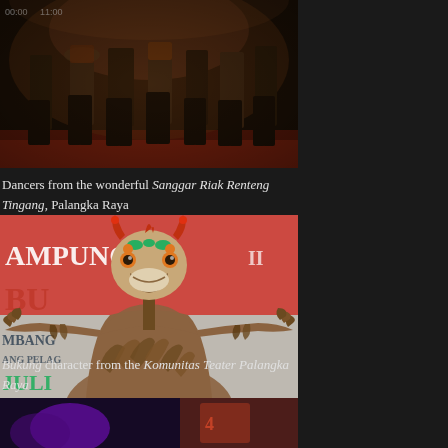[Figure (photo): Dancers performing on stage from Sanggar Riak Renteng Tingang, Palangka Raya, shown from waist down with colorful costumes against a dark background]
Dancers from the wonderful Sanggar Riak Renteng Tingang, Palangka Raya
[Figure (photo): A performer wearing a Bukung character costume with elaborate mask featuring horns and colorful decorations, dressed in brown feathered/leaf costume, standing in front of a banner for Komunitas Teater Palangka Raya]
Bukung character from the Komunitas Teater Palangka Raya
[Figure (photo): Partial view of another cultural performance or costume at the bottom of the page]